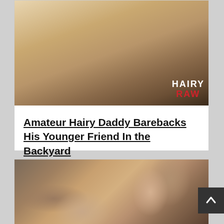[Figure (photo): Close-up photograph with watermark text 'HAIRY RAW' in bottom right corner]
Amateur Hairy Daddy Barebacks His Younger Friend In the Backyard
[Figure (photo): Photograph showing two people, partial view]